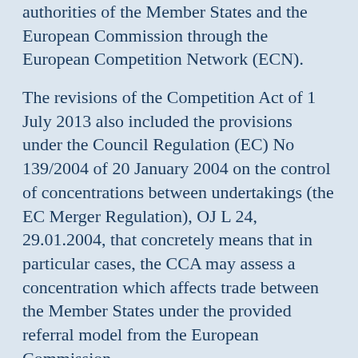authorities of the Member States and the European Commission through the European Competition Network (ECN).
The revisions of the Competition Act of 1 July 2013 also included the provisions under the Council Regulation (EC) No 139/2004 of 20 January 2004 on the control of concentrations between undertakings (the EC Merger Regulation), OJ L 24, 29.01.2004, that concretely means that in particular cases, the CCA may assess a concentration which affects trade between the Member States under the provided referral model from the European Commission.
Transposition of the ECN+ Directive into the national legal system